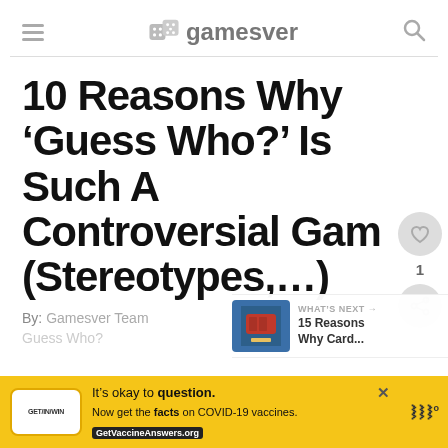gamesver
10 Reasons Why ‘Guess Who?’ Is Such A Controversial Game (Stereotypes,…)
By: Gamesver Team
Guess Who?
[Figure (screenshot): Floating action buttons: heart icon with count 1, and share icon]
[Figure (infographic): WHAT'S NEXT box with thumbnail and text '15 Reasons Why Card...']
[Figure (infographic): Yellow COVID-19 vaccine advertisement banner with text 'It's okay to question. Now get the facts on COVID-19 vaccines. GetVaccineAnswers.org']